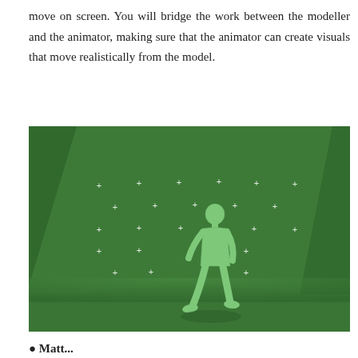move on screen. You will bridge the work between the modeller and the animator, making sure that the animator can create visuals that move realistically from the model.
[Figure (photo): A green-screen studio photo showing a human 3D figure/mannequin in a walking pose on a green floor, with a green background wall covered in white cross/plus tracking markers arranged in a grid pattern.]
● Matt...